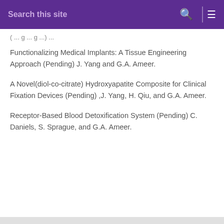Search this site
(... g ... g ...) ...
Functionalizing Medical Implants: A Tissue Engineering Approach (Pending) J. Yang and G.A. Ameer.
A Novel(diol-co-citrate) Hydroxyapatite Composite for Clinical Fixation Devices (Pending) ,J. Yang, H. Qiu, and G.A. Ameer.
Receptor-Based Blood Detoxification System (Pending) C. Daniels, S. Sprague, and G.A. Ameer.